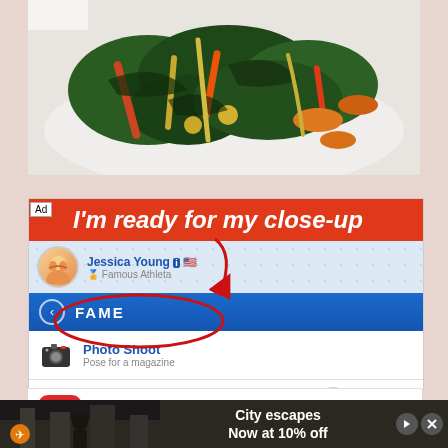[Figure (photo): Close-up photo of a food dish with dark leafy greens (chard/kale), carrots, cherry tomatoes on a white plate]
[Figure (screenshot): Mobile app advertisement screenshot for BitLife - Life Simulator game. Shows 'I'm ready for my close-up' ad banner in red, a game profile for Jessica Young (Famous Athleta), a FAME menu with back button, Photo Shoot menu item (Pose for a magazine) circled with red annotation arrow, Talk Show menu item, BitLife logo, and app store listing row.]
[Figure (screenshot): Bottom banner advertisement showing airplane icon and text 'City escapes Now at 10% off' with close/navigate buttons]